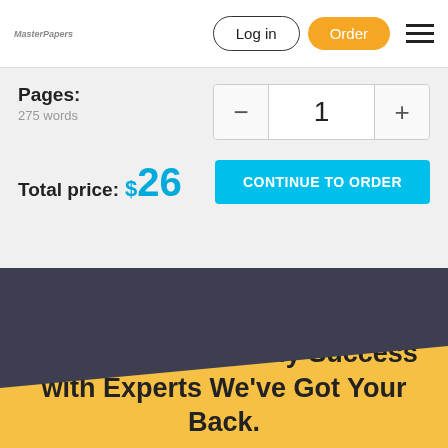MasterPapers | Log in | Order
Pages:
275 words
1
Total price: $26
CONTINUE TO ORDER
Power up Your Study Success with Experts We’ve Got Your Back.